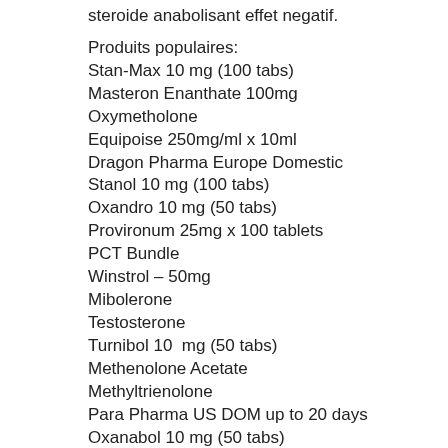steroide anabolisant effet negatif.
Produits populaires:
Stan-Max 10 mg (100 tabs)
Masteron Enanthate 100mg
Oxymetholone
Equipoise 250mg/ml x 10ml
Dragon Pharma Europe Domestic
Stanol 10 mg (100 tabs)
Oxandro 10 mg (50 tabs)
Provironum 25mg x 100 tablets
PCT Bundle
Winstrol – 50mg
Mibolerone
Testosterone
Turnibol 10  mg (50 tabs)
Methenolone Acetate
Methyltrienolone
Para Pharma US DOM up to 20 days
Oxanabol 10 mg (50 tabs)
1-Test Cyp 100 Dragon Pharma